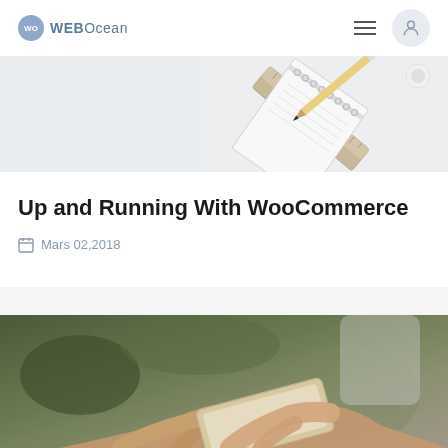WEBOcean
[Figure (photo): Light grey background with a notepad and ruler on the right side, top corner view]
Up and Running With WooCommerce
Mars 02,2018
[Figure (photo): Person holding a smartphone, blurred green/brown background]